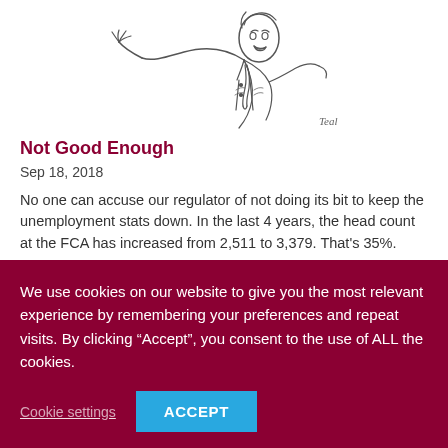[Figure (illustration): Pencil sketch illustration of a person in a suit gesturing/pointing, signed 'Teal' in the bottom right corner.]
Not Good Enough
Sep 18, 2018
No one can accuse our regulator of not doing its bit to keep the unemployment stats down. In the last 4 years, the head count at the FCA has increased from 2,511 to 3,379. That's 35%. Costs went up...
We use cookies on our website to give you the most relevant experience by remembering your preferences and repeat visits. By clicking “Accept”, you consent to the use of ALL the cookies.